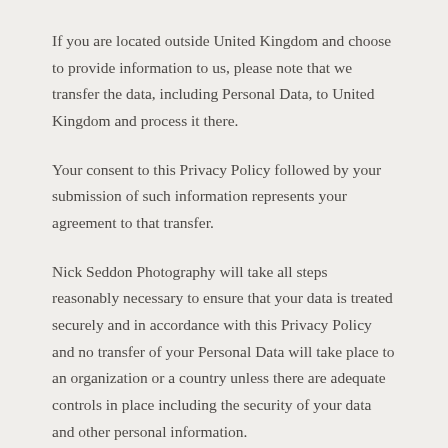If you are located outside United Kingdom and choose to provide information to us, please note that we transfer the data, including Personal Data, to United Kingdom and process it there.
Your consent to this Privacy Policy followed by your submission of such information represents your agreement to that transfer.
Nick Seddon Photography will take all steps reasonably necessary to ensure that your data is treated securely and in accordance with this Privacy Policy and no transfer of your Personal Data will take place to an organization or a country unless there are adequate controls in place including the security of your data and other personal information.
Disclosure Of Data